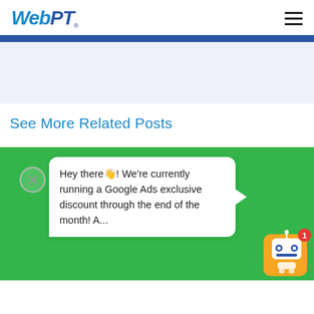WebPT
See More Related Posts
[Figure (screenshot): Chat popup widget over green background with a robot icon and notification badge showing number 1. The chat message reads: Hey there! We're currently running a Google Ads exclusive discount through the end of the month! A...]
Hey there👋! We're currently running a Google Ads exclusive discount through the end of the month! A...